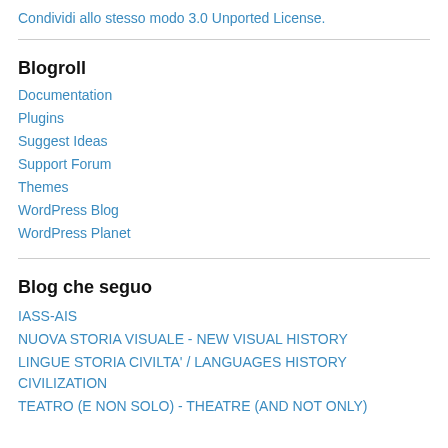Condividi allo stesso modo 3.0 Unported License.
Blogroll
Documentation
Plugins
Suggest Ideas
Support Forum
Themes
WordPress Blog
WordPress Planet
Blog che seguo
IASS-AIS
NUOVA STORIA VISUALE - NEW VISUAL HISTORY
LINGUE STORIA CIVILTA' / LANGUAGES HISTORY CIVILIZATION
TEATRO (E NON SOLO) - THEATRE (AND NOT ONLY)